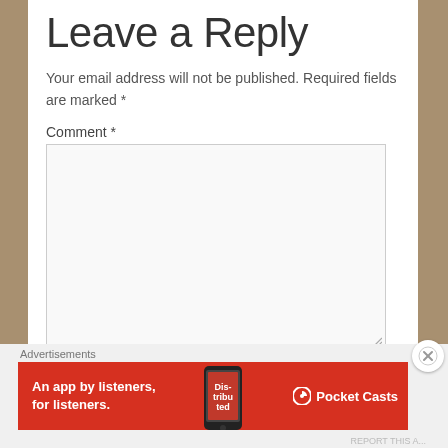Leave a Reply
Your email address will not be published. Required fields are marked *
Comment *
Name *
Advertisements
[Figure (infographic): Red Pocket Casts advertisement banner: 'An app by listeners, for listeners.' with phone image and Pocket Casts logo]